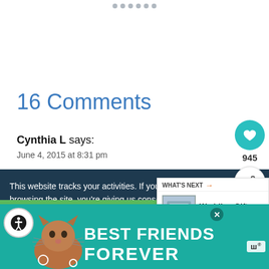16 Comments
Cynthia L says:
June 4, 2015 at 8:31 pm
This website tracks your activities. If you continue browsing the site, you're giving us cons... your activity.
[Figure (infographic): WHAT'S NEXT: Wedding Gift Picnic Quilt thumbnail widget]
[Figure (infographic): Ad banner: BEST FRIENDS FOREVER with cat image, teal background]